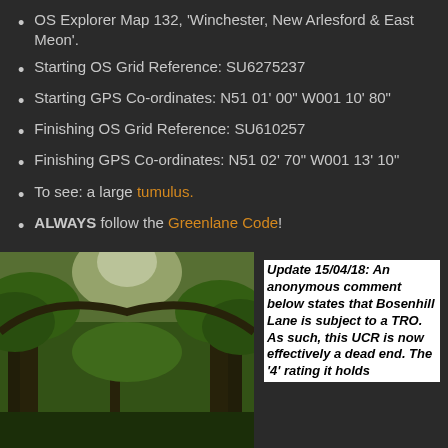OS Explorer Map 132, 'Winchester, New Arlesford & East Meon'.
Starting OS Grid Reference: SU6275237
Starting GPS Co-ordinates: N51 01' 00" W001 10' 80"
Finishing OS Grid Reference: SU610257
Finishing GPS Co-ordinates: N51 02' 70" W001 13' 10"
To see: a large tumulus.
ALWAYS follow the Greenlane Code!
[Figure (photo): A green lane with overhanging trees forming a tunnel, sunlight filtering through the canopy above.]
Update 15/04/18: An anonymous comment below states that Bosenhill Lane is subject to a TRO. As such, this UCR is now effectively a dead end. The '4' rating it holds